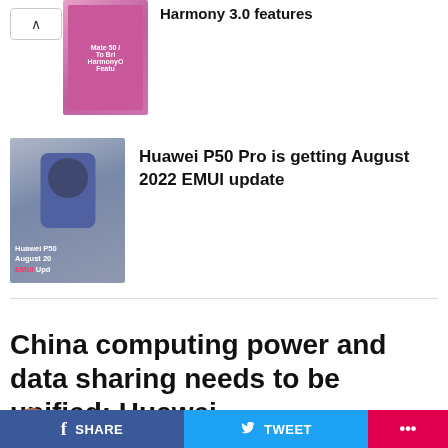[Figure (screenshot): Top card with arrow and thumbnail showing Harmony 3.0 features article]
Harmony 3.0 features
[Figure (screenshot): Huawei P50 Pro phone image thumbnail with EMUI update text overlay]
Huawei P50 Pro is getting August 2022 EMUI update
NEWS
China computing power and data sharing needs to be unified: Huawei
Published 23 mins ago on September 1, 2022
By Yash Mishra
SHARE  TWEET  ...